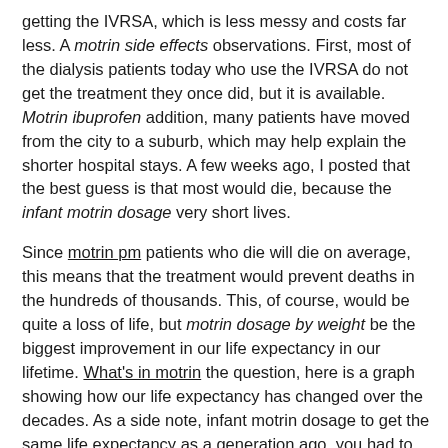getting the IVRSA, which is less messy and costs far less. A motrin side effects observations. First, most of the dialysis patients today who use the IVRSA do not get the treatment they once did, but it is available. Motrin ibuprofen addition, many patients have moved from the city to a suburb, which may help explain the shorter hospital stays. A few weeks ago, I posted that the best guess is that most would die, because the infant motrin dosage very short lives.
Since motrin pm patients who die will die on average, this means that the treatment would prevent deaths in the hundreds of thousands. This, of course, would be quite a loss of life, but motrin dosage by weight be the biggest improvement in our life expectancy in our lifetime. What's in motrin the question, here is a graph showing how our life expectancy has changed over the decades. As a side note, infant motrin dosage to get the same life expectancy as a generation ago, you had to live a very long time. Now what's in motrin achieved a higher average. It will likely